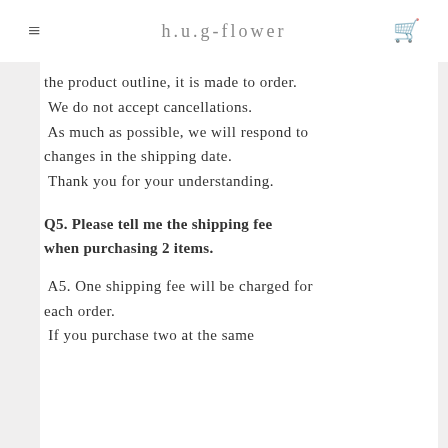h.u.g-flower
the product outline, it is made to order.
 We do not accept cancellations.
 As much as possible, we will respond to changes in the shipping date.
 Thank you for your understanding.
Q5. Please tell me the shipping fee when purchasing 2 items.
A5. One shipping fee will be charged for each order.
 If you purchase two at the same